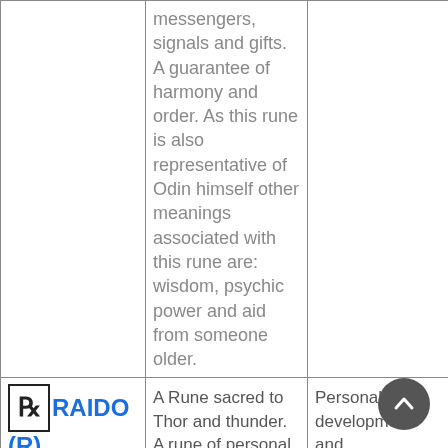| Name/Symbol | Description | Meaning |
| --- | --- | --- |
|  | messengers, signals and gifts. A guarantee of harmony and order. As this rune is also representative of Odin himself other meanings associated with this rune are: wisdom, psychic power and aid from someone older. |  |
| RAIDO (R), WHEEL | A Rune sacred to Thor and thunder. A rune of personal... | Personal development and transformation. Journey rune... |